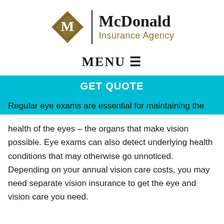[Figure (logo): McDonald Insurance Agency logo with gold diamond shape containing 'M' and text 'McDonald Insurance Agency']
MENU ☰
GET QUOTE
Regular eye exams are essential for maintaining the health of the eyes – the organs that make vision possible. Eye exams can also detect underlying health conditions that may otherwise go unnoticed. Depending on your annual vision care costs, you may need separate vision insurance to get the eye and vision care you need.